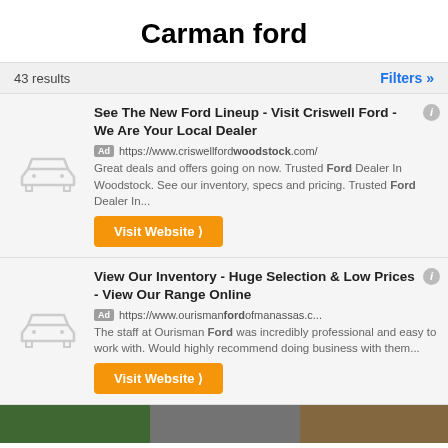Carman ford
43 results
Filters »
See The New Ford Lineup - Visit Criswell Ford - We Are Your Local Dealer
Ad https://www.criswellfordwoodstock.com/
Great deals and offers going on now. Trusted Ford Dealer In Woodstock. See our inventory, specs and pricing. Trusted Ford Dealer In...
[Figure (illustration): Gray car icon placeholder for first ad]
Visit Website ❯
View Our Inventory - Huge Selection & Low Prices - View Our Range Online
Ad https://www.ourismanfordofmanassas.c...
The staff at Ourisman Ford was incredibly professional and easy to work with. Would highly recommend doing business with them...
[Figure (illustration): Gray car icon placeholder for second ad]
Visit Website ❯
[Figure (photo): Bottom strip showing partial car images]